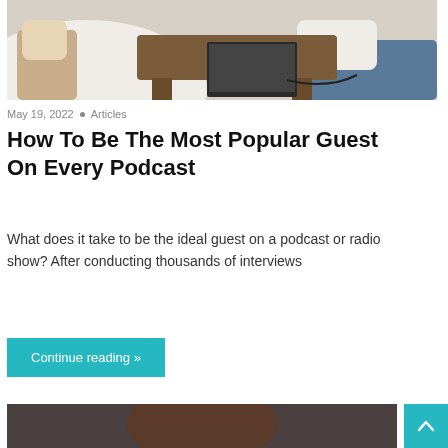[Figure (photo): Two people working on a laptop near a wooden coffee table on a light carpet]
May 19, 2022  •  Articles
How To Be The Most Popular Guest On Every Podcast
What does it take to be the ideal guest on a podcast or radio show? After conducting thousands of interviews
Continue reading »
[Figure (photo): Portrait of a person with brown hair, partially visible at bottom of page]